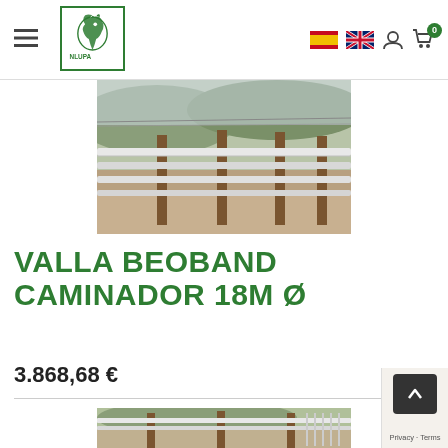NLUPA logo header with hamburger menu, language flags (Spanish, English), user icon, and cart icon with badge 0
[Figure (photo): Outdoor horse walker / walker fence made of white metal rails and wooden posts on a dirt ground with hills in background]
VALLA BEOBAND CAMINADOR 18M Ø
3.868,68 €
[Figure (photo): Close-up of white metal fence/walker structure with wooden posts and hills in background]